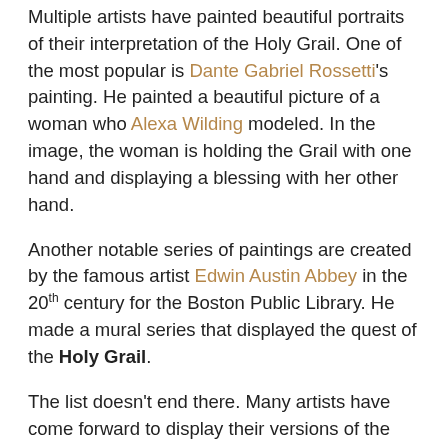Multiple artists have painted beautiful portraits of their interpretation of the Holy Grail. One of the most popular is Dante Gabriel Rossetti's painting. He painted a beautiful picture of a woman who Alexa Wilding modeled. In the image, the woman is holding the Grail with one hand and displaying a blessing with her other hand.
Another notable series of paintings are created by the famous artist Edwin Austin Abbey in the 20th century for the Boston Public Library. He made a mural series that displayed the quest of the Holy Grail.
The list doesn't end there. Many artists have come forward to display their versions of the Grail. Notable artists include George Frederic Watts and William Dyce.
Literature and Media:
Multiple theories about the Holy Grail have sprung up, but